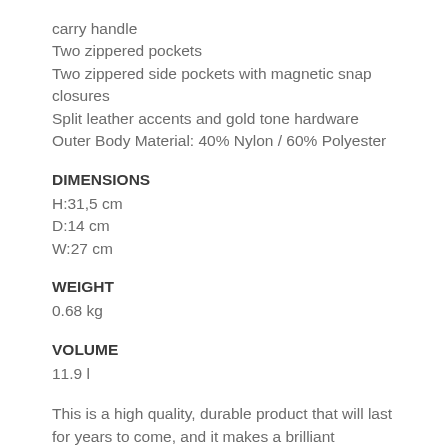carry handle
Two zippered pockets
Two zippered side pockets with magnetic snap closures
Split leather accents and gold tone hardware
Outer Body Material: 40% Nylon / 60% Polyester
DIMENSIONS
H:31,5 cm
D:14 cm
W:27 cm
WEIGHT
0.68 kg
VOLUME
11.9 l
This is a high quality, durable product that will last for years to come, and it makes a brilliant travelling companion.